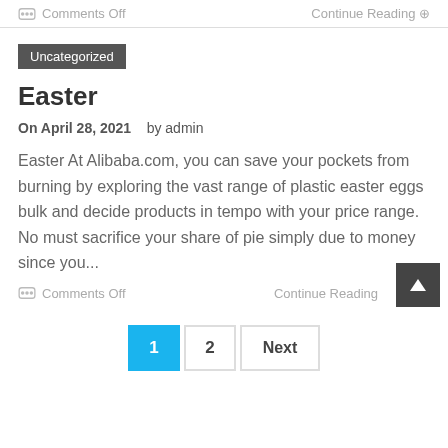Comments Off   Continue Reading
Uncategorized
Easter
On April 28, 2021    by admin
Easter At Alibaba.com, you can save your pockets from burning by exploring the vast range of plastic easter eggs bulk and decide products in tempo with your price range. No must sacrifice your share of pie simply due to money since you...
Comments Off   Continue Reading
1  2  Next